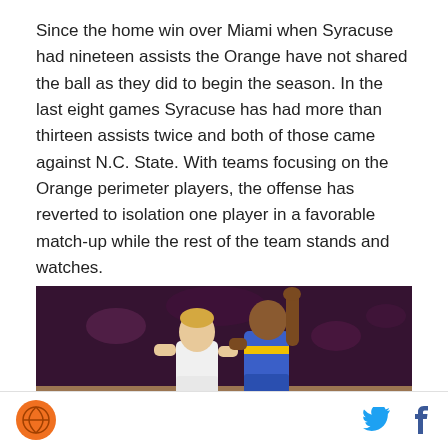Since the home win over Miami when Syracuse had nineteen assists the Orange have not shared the ball as they did to begin the season. In the last eight games Syracuse has had more than thirteen assists twice and both of those came against N.C. State. With teams focusing on the Orange perimeter players, the offense has reverted to isolation one player in a favorable match-up while the rest of the team stands and watches.
[Figure (photo): Basketball game photo showing two players — one in white and one in blue/yellow uniforms — during a game against a dark purple/maroon background crowd.]